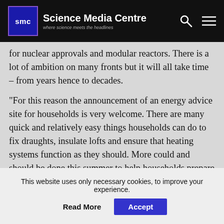Science Media Centre — where science meets the headlines
for nuclear approvals and modular reactors. There is a lot of ambition on many fronts but it will all take time – from years hence to decades.
“For this reason the announcement of an energy advice site for households is very welcome. There are many quick and relatively easy things households can do to fix draughts, insulate lofts and ensure that heating systems function as they should. More could and should be done this summer to help households prepare for next winter. A major information campaign could be launched to help. The strategy is a good start but action on energy efficiency could be much bolder.
“The strategy makes no mention of the need for western
This website uses only necessary cookies, to improve your experience.